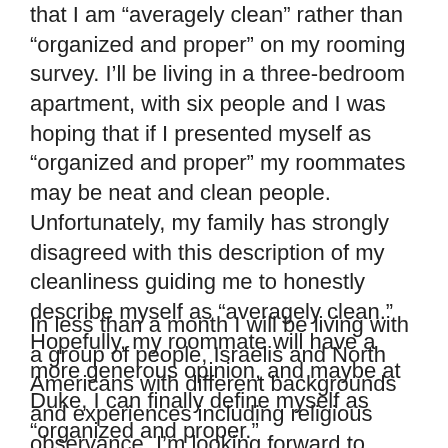that I am “averagely clean” rather than “organized and proper” on my rooming survey. I’ll be living in a three-bedroom apartment, with six people and I was hoping that if I presented myself as “organized and proper” my roommates may be neat and clean people. Unfortunately, my family has strongly disagreed with this description of my cleanliness guiding me to honestly describe myself as “averagely clean.” Hopefully, my roommate will have a more generous opinion, and maybe at Duke, I can finally define myself as “organized and proper.”
In less than a month I will be living with a group of people, Israelis and North Americans with different backgrounds and experiences including religious observance. I’m looking forward to adapting to living with people who have grown up very differently from myself. I know I will likely be eating kosher food and